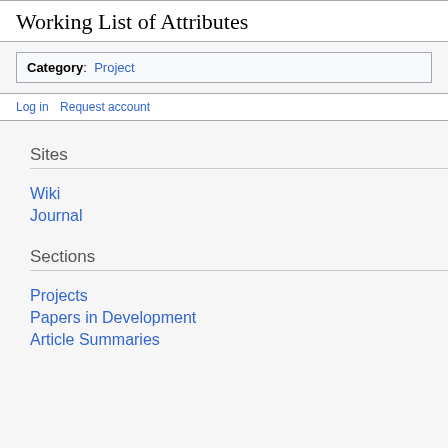Working List of Attributes
Category: Project
Log in   Request account
Sites
Wiki
Journal
Sections
Projects
Papers in Development
Article Summaries